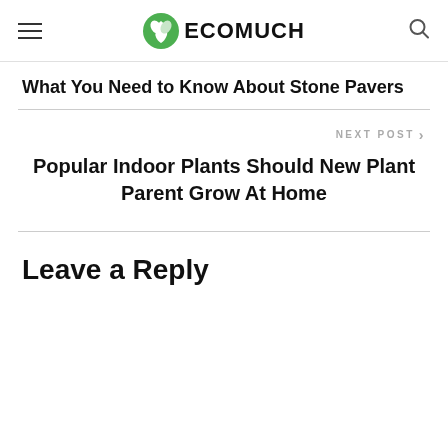ECOMUCH
What You Need to Know About Stone Pavers
NEXT POST
Popular Indoor Plants Should New Plant Parent Grow At Home
Leave a Reply